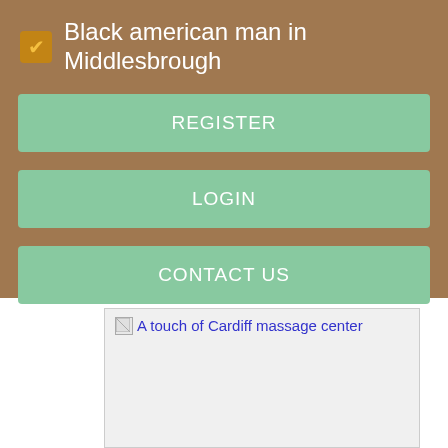Black american man in Middlesbrough
REGISTER
LOGIN
CONTACT US
[Figure (screenshot): Broken image placeholder with alt text 'A touch of Cardiff massage center' shown as blue hyperlink text with a broken image icon]